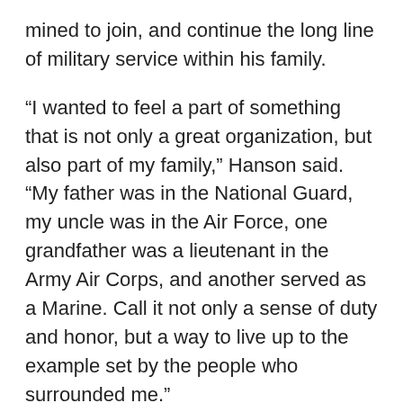mined to join, and continue the long line of military service within his family.
“I wanted to feel a part of something that is not only a great organization, but also part of my family,” Hanson said. “My father was in the National Guard, my uncle was in the Air Force, one grandfather was a lieutenant in the Army Air Corps, and another served as a Marine. Call it not only a sense of duty and honor, but a way to live up to the example set by the people who surrounded me.”
After being denied by the military doctor, Hanson persisted, and worked with several civilian physicians to improve his mobility and become medically